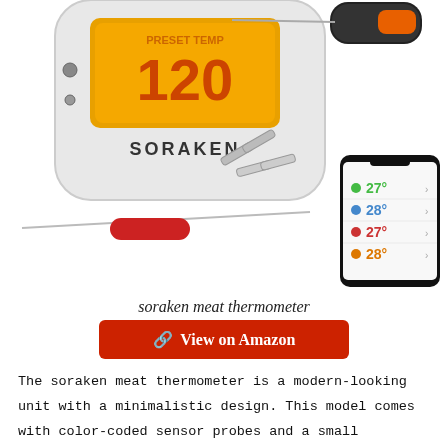[Figure (photo): Product photo of Soraken meat thermometer showing the main display unit with orange LCD showing 120 PRESET TEMP, wireless probe, accessories including metal clips, silicone clip, red-tipped probe wire, and smartphone app showing temperature readings of 27°, 28°, 27°, 28°]
soraken meat thermometer
🔗  View on Amazon
The soraken meat thermometer is a modern-looking unit with a minimalistic design. This model comes with color-coded sensor probes and a small transmitter module. This thermometer comes with a